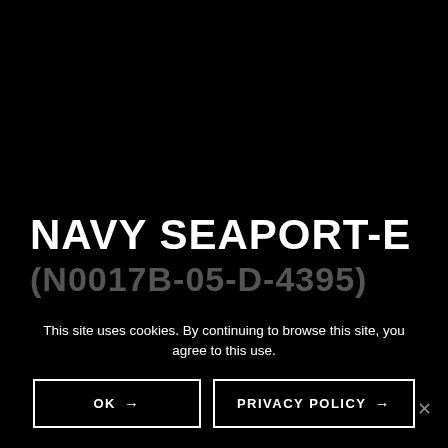NAVY SEAPORT-E
(N0017B-05-D-4395)
This site uses cookies. By continuing to browse this site, you agree to this use.
OK →   PRIVACY POLICY →